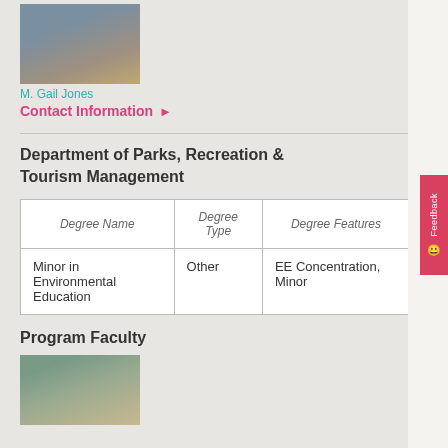[Figure (photo): Headshot photo of M. Gail Jones, a woman with blonde hair]
M. Gail Jones
Contact Information ▶
Department of Parks, Recreation & Tourism Management
| Degree Name | Degree Type | Degree Features |
| --- | --- | --- |
| Minor in Environmental Education | Other | EE Concentration, Minor |
Program Faculty
[Figure (photo): Headshot photo of a woman with long brown hair, smiling]